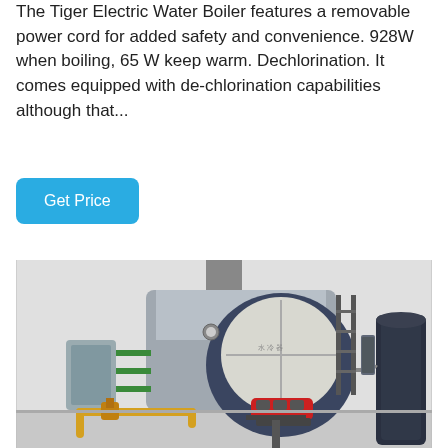The Tiger Electric Water Boiler features a removable power cord for added safety and convenience. 928W when boiling, 65 W keep warm. Dechlorination. It comes equipped with de-chlorination capabilities although that...
Get Price
[Figure (photo): Industrial gas/oil-fired boiler in a large room with metal pipework, green and yellow pipes, and auxiliary equipment including a dark tank on the right side.]